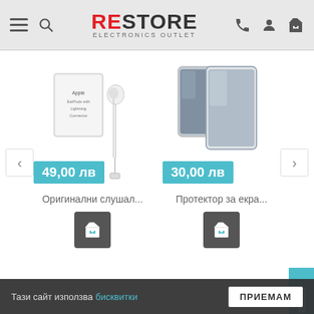[Figure (screenshot): ReStore Electronics Outlet website header with hamburger menu, search icon, logo, phone icon, account icon, and cart icon on a light grey background]
[Figure (screenshot): Product carousel showing Apple EarPods with Lightning Connector (49,00 лв) and screen protector (30,00 лв) with left/right navigation arrows and add-to-cart buttons]
Оригинални слушал...
Протектор за екра...
Подобни продукти
[Figure (screenshot): Bottom section showing similar products (partially visible dark smartphones) and a back-to-top button]
Тази сайт използва бисквитки